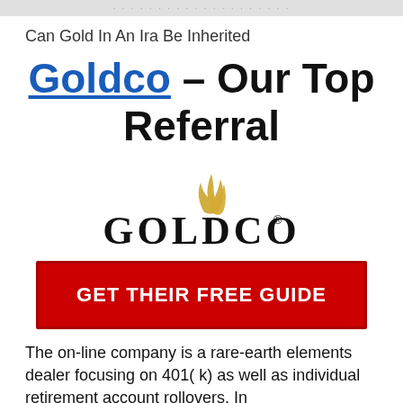Can Gold In An Ira Be Inherited
Goldco – Our Top Referral
[Figure (logo): Goldco logo with golden flame/feather icon above the text GOLDCO in bold serif letters with a registered trademark symbol]
GET THEIR FREE GUIDE
The on-line company is a rare-earth elements dealer focusing on 401( k) as well as individual retirement account rollovers. In